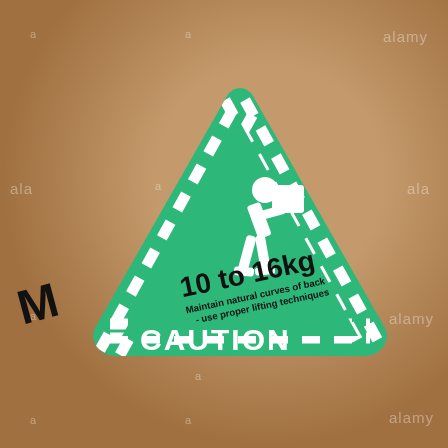[Figure (infographic): Green triangular caution label on brown cardboard surface. The triangle has a white dashed/striped border pattern. Inside is a white pictogram of a person lifting a box, with black text reading '10 to 16kg', 'Maintain natural curves of back - use proper lifting techniques', and 'CAUTION' at the bottom. Alamy watermarks visible across the image.]